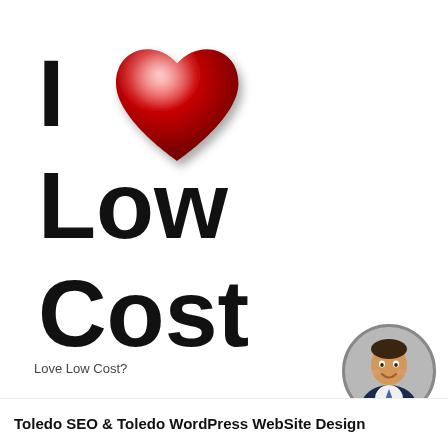[Figure (illustration): Large bold text 'I [red heart] Low Cost' with a glossy 3D red heart icon replacing the word 'love', followed by large bold text 'Low' and 'Cost' on separate lines]
Love Low Cost?
[Figure (photo): Circular cropped headshot photo of a smiling businessman in a suit and tie]
Toledo SEO & Toledo WordPress WebSite Design